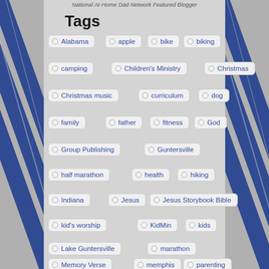National At-Home Dad Network Featured Blogger
Tags
Alabama
apple
bike
biking
camping
Children's Ministry
Christmas
Christmas music
curriculum
dog
family
father
fitness
God
Group Publishing
Guntersville
half marathon
health
hiking
Indiana
Jesus
Jesus Storybook Bible
kid's worship
KidMin
kids
Lake Guntersville
marathon
Memory Verse
memphis
parenting